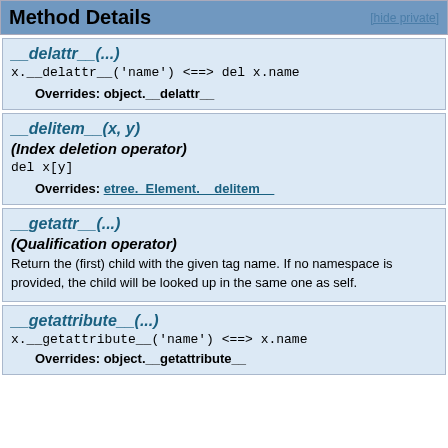Method Details [hide private]
__delattr__(...)
x.__delattr__('name') <==> del x.name
Overrides: object.__delattr__
__delitem__(x, y)
(Index deletion operator)
del x[y]
Overrides: etree._Element.__delitem__
__getattr__(...)
(Qualification operator)
Return the (first) child with the given tag name. If no namespace is provided, the child will be looked up in the same one as self.
__getattribute__(...)
x.__getattribute__('name') <==> x.name
Overrides: object.__getattribute__